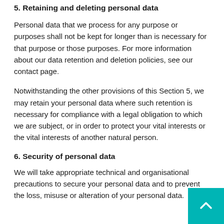5. Retaining and deleting personal data
Personal data that we process for any purpose or purposes shall not be kept for longer than is necessary for that purpose or those purposes. For more information about our data retention and deletion policies, see our contact page.
Notwithstanding the other provisions of this Section 5, we may retain your personal data where such retention is necessary for compliance with a legal obligation to which we are subject, or in order to protect your vital interests or the vital interests of another natural person.
6. Security of personal data
We will take appropriate technical and organisational precautions to secure your personal data and to prevent the loss, misuse or alteration of your personal data.